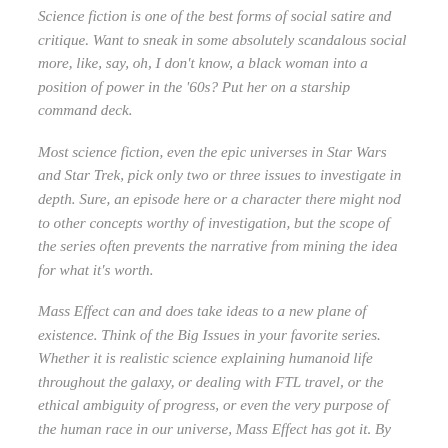Science fiction is one of the best forms of social satire and critique. Want to sneak in some absolutely scandalous social more, like, say, oh, I don't know, a black woman into a position of power in the '60s? Put her on a starship command deck.
Most science fiction, even the epic universes in Star Wars and Star Trek, pick only two or three issues to investigate in depth. Sure, an episode here or a character there might nod to other concepts worthy of investigation, but the scope of the series often prevents the narrative from mining the idea for what it's worth.
Mass Effect can and does take ideas to a new plane of existence. Think of the Big Issues in your favorite series. Whether it is realistic science explaining humanoid life throughout the galaxy, or dealing with FTL travel, or the ethical ambiguity of progress, or even the very purpose of the human race in our universe, Mass Effect has got it. By virtue